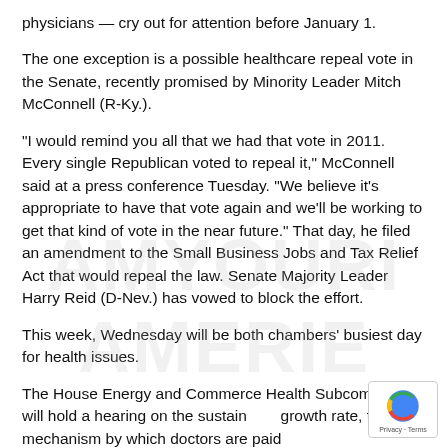physicians — cry out for attention before January 1.
The one exception is a possible healthcare repeal vote in the Senate, recently promised by Minority Leader Mitch McConnell (R-Ky.).
“I would remind you all that we had that vote in 2011. Every single Republican voted to repeal it,” McConnell said at a press conference Tuesday. “We believe it’s appropriate to have that vote again and we’ll be working to get that kind of vote in the near future.” That day, he filed an amendment to the Small Business Jobs and Tax Relief Act that would repeal the law. Senate Majority Leader Harry Reid (D-Nev.) has vowed to block the effort.
This week, Wednesday will be both chambers’ busiest day for health issues.
The House Energy and Commerce Health Subcommittee will hold a hearing on the sustainable growth rate, the mechanism by which doctors are paid